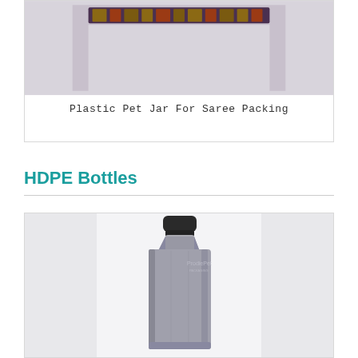[Figure (photo): Plastic Pet Jar For Saree Packing product photo — decorative saree/textile visible at top]
Plastic Pet Jar For Saree Packing
HDPE Bottles
[Figure (photo): HDPE bottle — grey rectangular plastic bottle with black cap, lubricant/oil bottle style, with ProdiePet watermark logo]